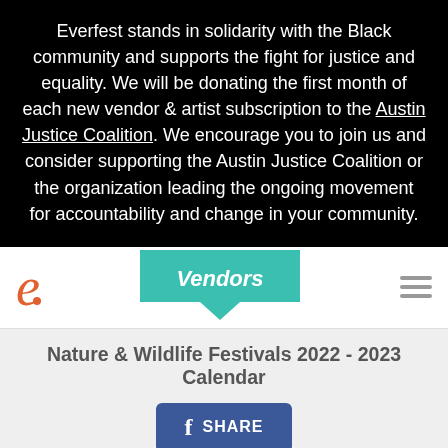Everfest stands in solidarity with the Black community and supports the fight for justice and equality. We will be donating the first month of each new vendor & artist subscription to the Austin Justice Coalition. We encourage you to join us and consider supporting the Austin Justice Coalition or the organization leading the ongoing movement for accountability and change in your community.
[Figure (screenshot): Everfest website navigation bar with orange 'e' logo on the left, teal 'Vendors' speech bubble button in center, and hamburger menu icon on the right]
Nature & Wildlife Festivals 2022 - 2023 Calendar
[Figure (screenshot): Facebook Share button in blue with 'f' icon and 'SHARE' text]
< Prev  1  2  3  4  5  Next >